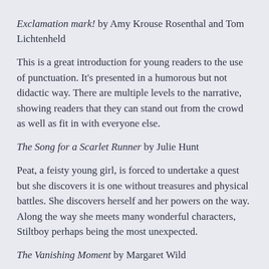Exclamation mark! by Amy Krouse Rosenthal and Tom Lichtenheld
This is a great introduction for young readers to the use of punctuation. It's presented in a humorous but not didactic way. There are multiple levels to the narrative, showing readers that they can stand out from the crowd as well as fit in with everyone else.
The Song for a Scarlet Runner by Julie Hunt
Peat, a feisty young girl, is forced to undertake a quest but she discovers it is one without treasures and physical battles. She discovers herself and her powers on the way. Along the way she meets many wonderful characters, Stiltboy perhaps being the most unexpected.
The Vanishing Moment by Margaret Wild
This is an interesting multi-voice novel. Three young people tell their stories of life in a small town and how tragedy has affected